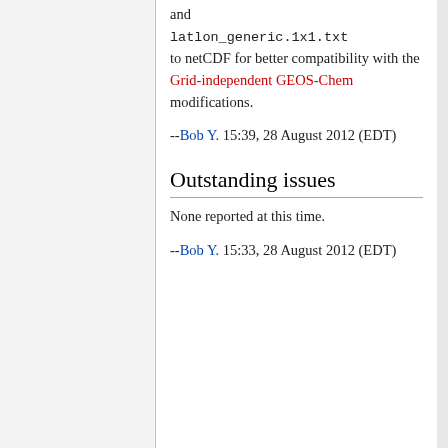and latlon_generic.1x1.txt to netCDF for better compatibility with the Grid-independent GEOS-Chem modifications.
--Bob Y. 15:39, 28 August 2012 (EDT)
Outstanding issues
None reported at this time.
--Bob Y. 15:33, 28 August 2012 (EDT)
Privacy policy   About Geos-chem   Disclaimers